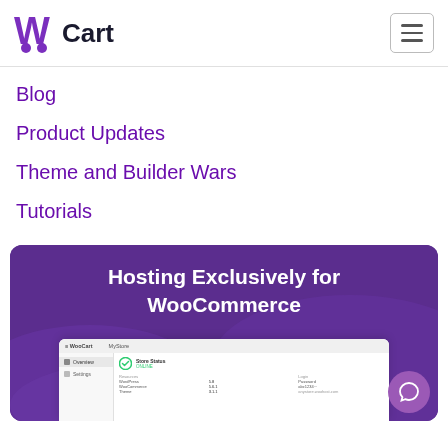[Figure (logo): WooCart logo with purple W icon and dark Cart text]
Blog
Product Updates
Theme and Builder Wars
Tutorials
[Figure (screenshot): Purple banner with text 'Hosting Exclusively for WooCommerce' and a dashboard screenshot mockup at the bottom, plus a chat button]